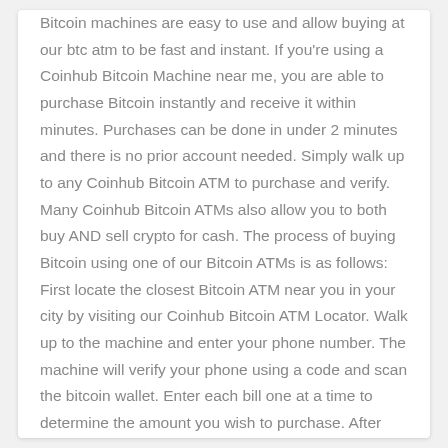Bitcoin machines are easy to use and allow buying at our btc atm to be fast and instant. If you're using a Coinhub Bitcoin Machine near me, you are able to purchase Bitcoin instantly and receive it within minutes. Purchases can be done in under 2 minutes and there is no prior account needed. Simply walk up to any Coinhub Bitcoin ATM to purchase and verify. Many Coinhub Bitcoin ATMs also allow you to both buy AND sell crypto for cash. The process of buying Bitcoin using one of our Bitcoin ATMs is as follows: First locate the closest Bitcoin ATM near you in your city by visiting our Coinhub Bitcoin ATM Locator. Walk up to the machine and enter your phone number. The machine will verify your phone using a code and scan the bitcoin wallet. Enter each bill one at a time to determine the amount you wish to purchase. After that, confirm the purchase by entering the bitcoin atm. Bitcoin is then instantly sent to your wallet. The daily